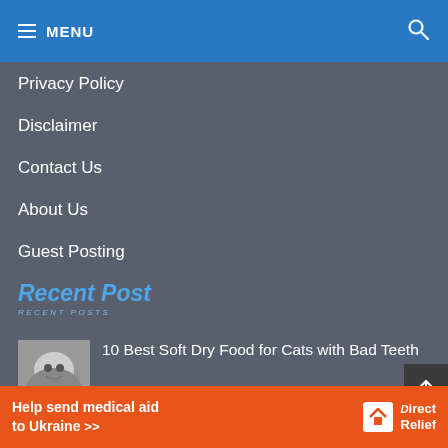MENU
Privacy Policy
Disclaimer
Contact Us
About Us
Guest Posting
Recent Post
10 Best Soft Dry Food for Cats with Bad Teeth
How Long for Cat Food Allergies to Go Away? Best 7 Key Facts About Food...
Help send medical aid to Ukraine >> Direct Relief